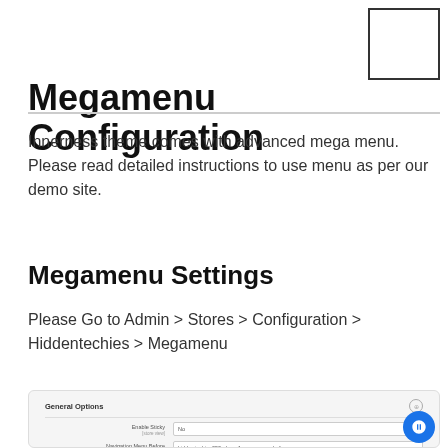[Figure (other): Small empty white rectangle with border in top right corner]
Megamenu Configuration
Innerness theme comes with advanced mega menu. Please read detailed instructions to use menu as per our demo site.
Megamenu Settings
Please Go to Admin > Stores > Configuration > Hiddentechies > Megamenu
[Figure (screenshot): Screenshot of admin configuration panel showing General Options section with Enable Sticky set to No, Navigation Menu Before and Navigation Menu After fields, and Megamenu Settings section with Default Menu Type set to Classic]